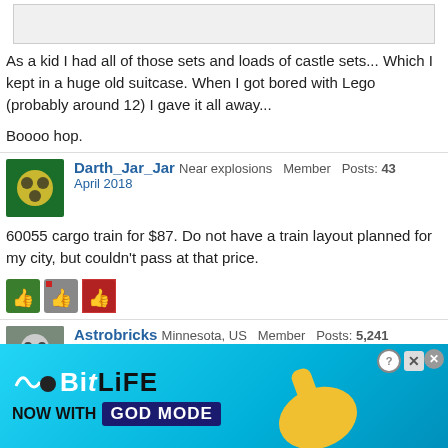[Figure (screenshot): Top gray bar (partial screenshot of previous content)]
As a kid I had all of those sets and loads of castle sets... Which I kept in a huge old suitcase. When I got bored with Lego (probably around 12) I gave it all away...
Boooo hop.
Darth_Jar_Jar   Near explosions   Member   Posts: 43
April 2018
60055 cargo train for $87. Do not have a train layout planned for my city, but couldn't pass at that price.
[Figure (illustration): Three reaction emoji icons (thumbs up in green, gray, red)]
Astrobricks   Minnesota, US   Member   Posts: 5,241
April 2018   edited April 2018
[Figure (screenshot): BitLife advertisement banner - NOW WITH GOD MODE]